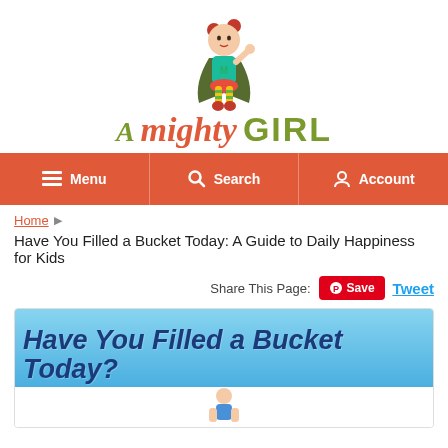[Figure (logo): A Mighty Girl logo with illustrated superhero girl character and stylized text]
Menu  Search  Account
Home ▶ Have You Filled a Bucket Today: A Guide to Daily Happiness for Kids
Have You Filled a Bucket Today: A Guide to Daily Happiness for Kids
Share This Page:  Save  Tweet
[Figure (photo): Book cover preview showing 'Have You Filled a Bucket Today?' with blue sky background and large stylized text]